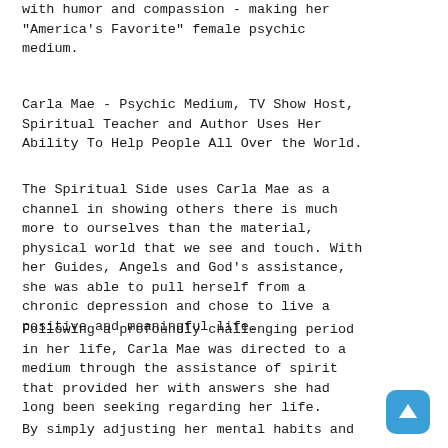with humor and compassion - making her "America's Favorite" female psychic medium.
Carla Mae - Psychic Medium, TV Show Host, Spiritual Teacher and Author Uses Her Ability To Help People All Over the World.
The Spiritual Side uses Carla Mae as a channel in showing others there is much more to ourselves than the material, physical world that we see and touch. With her Guides, Angels and God's assistance, she was able to pull herself from a chronic depression and chose to live a positive and meaningful life.
Following a profoundly challenging period in her life, Carla Mae was directed to a medium through the assistance of spirit that provided her with answers she had long been seeking regarding her life.
By simply adjusting her mental habits and